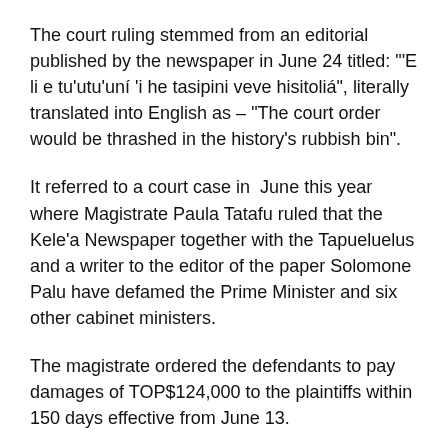The court ruling stemmed from an editorial published by the newspaper in June 24 titled: "‘E li e tuʻutuʻuní ʻi he tasipini veve hisitoliá", literally translated into English as – “The court order would be thrashed in the history’s rubbish bin”.
It referred to a court case in  June this year where Magistrate Paula Tatafu ruled that the Kele’a Newspaper together with the Tapueluelus and a writer to the editor of the paper Solomone Palu have defamed the Prime Minister and six other cabinet ministers.
The magistrate ordered the defendants to pay damages of TOP$124,000 to the plaintiffs within 150 days effective from June 13.
However in June 24 Tapueluelu in the said editorial claimed the legal proceeding was a “fakamanavahē kalae” or a scare